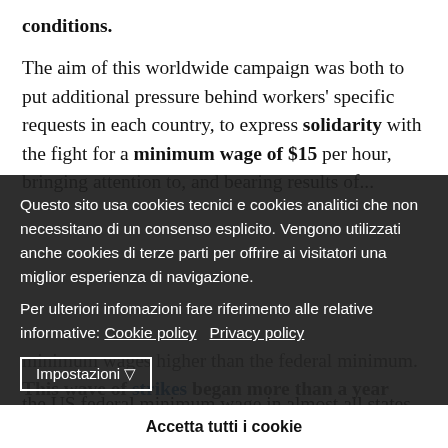conditions. The aim of this worldwide campaign was both to put additional pressure behind workers' specific requests in each country, to express solidarity with the fight for a minimum wage of $15 per hour, bringing attention to, and bearing results of...
Questo sito usa cookies tecnici e cookies analitici che non necessitano di un consenso esplicito. Vengono utilizzati anche cookies di terze parti per offrire ai visitatori una miglior esperienza di navigazione. Per ulteriori infomazioni fare riferimento alle relative informative: Cookie policy  Privacy policy
Impostazioni ▽
Accetta tutti i cookie
minimum. This wave of strikes began more than a year ago, but until recently, they didn't prove to be decisive in meeting the goal of forcing big fast food corporations to raise wages.